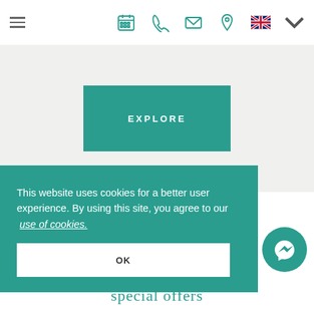[Figure (screenshot): Website navigation bar with hamburger menu icon, calendar icon, phone icon, envelope icon, location pin icon, UK flag with dropdown arrow]
[Figure (screenshot): Teal EXPLORE button on light grey background]
This website uses cookies for a better user experience. By using this site, you agree to our use of cookies.
OK
[Figure (illustration): Teal circular Messenger chat bubble icon]
special offers